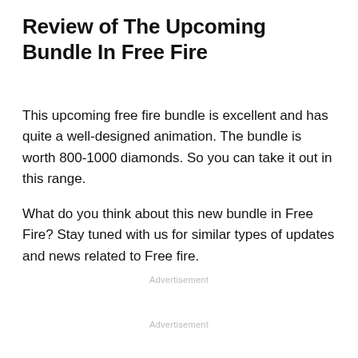Review of The Upcoming Bundle In Free Fire
This upcoming free fire bundle is excellent and has quite a well-designed animation. The bundle is worth 800-1000 diamonds. So you can take it out in this range.
What do you think about this new bundle in Free Fire? Stay tuned with us for similar types of updates and news related to Free fire.
Advertisement
Advertisement